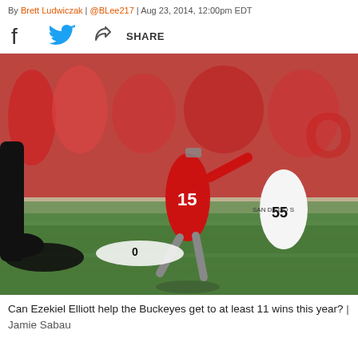By Brett Ludwiczak | @BLee217 | Aug 23, 2014, 12:00pm EDT
[Figure (other): Social share bar with Facebook icon, Twitter bird icon, and share icon with SHARE text]
[Figure (photo): Football action photo: Ohio State running back #15 Ezekiel Elliott leaping over San Diego State defenders on a grass field, with red stadium crowd in the background]
Can Ezekiel Elliott help the Buckeyes get to at least 11 wins this year? | Jamie Sabau